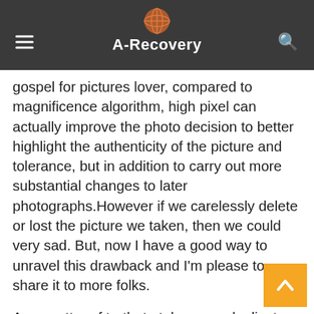A-Recovery
gospel for pictures lover, compared to magnificence algorithm, high pixel can actually improve the photo decision to better highlight the authenticity of the picture and tolerance, but in addition to carry out more substantial changes to later photographs.However if we carelessly delete or lost the picture we taken, then we could very sad. But, now I have a good way to unravel this drawback and I'm please to share it to more folks.
As a matter of truth, to take away duplicate songs in iTunes, you can use Tenorshare Music Cleanup. It is a skilled and highly effective program to handle your iTunes library. Not solely can it delete too many duplicate songs in iTunes or iCloud, it may well also rename the albums data in iTunes and